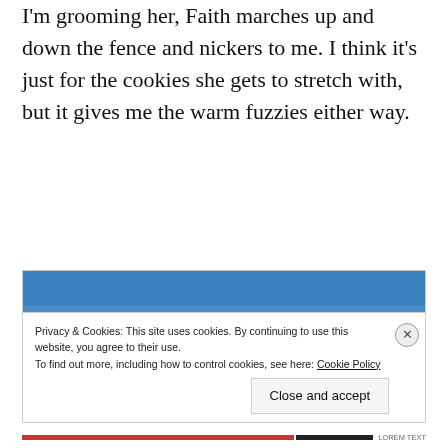I'm grooming her, Faith marches up and down the fence and nickers to me. I think it's just for the cookies she gets to stretch with, but it gives me the warm fuzzies either way.
[Figure (photo): A chestnut horse and a brown donkey facing each other in a dry golden field under a clear blue sky. Trees visible in background distance.]
Privacy & Cookies: This site uses cookies. By continuing to use this website, you agree to their use.
To find out more, including how to control cookies, see here: Cookie Policy
Close and accept